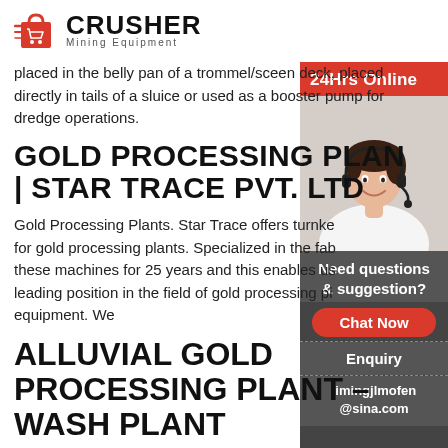[Figure (logo): Crusher Mining Equipment logo: red shopping bag icon with speed lines, bold black text CRUSHER with Mining Equipment subtitle]
placed in the belly pan of a trommel/sceen deck, placed directly in tails of a sluice or used as a booster pump for dredge operations.
GOLD PROCESSING PLANTS | STAR TRACE PVT. LTD
Gold Processing Plants. Star Trace offers turnke for gold processing plants. Specialized in the fab these machines for 25 years and this enables us leading position in the field of gold processing pl equipment. We
ALLUVIAL GOLD PROCESSING PLANT – WASH PLANT
Alluvial gold processing plant / 90%+ Gold Reco
[Figure (photo): 24Hrs Online customer service representative – woman with headset smiling, against a sidebar with dark grey background]
Need questions & suggestion?
Chat Now
Enquiry
limingjlmofen@sina.com